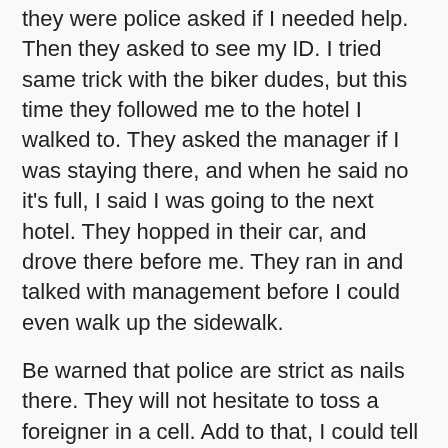they were police asked if I needed help. Then they asked to see my ID. I tried same trick with the biker dudes, but this time they followed me to the hotel I walked to. They asked the manager if I was staying there, and when he said no it's full, I said I was going to the next hotel. They hopped in their car, and drove there before me. They ran in and talked with management before I could even walk up the sidewalk.
Be warned that police are strict as nails there. They will not hesitate to toss a foreigner in a cell. Add to that, I could tell they were strong too. The immigration officer arrived with 2 uniformed Burmese police that were built like American football linebackers while wearing sandals. Taking into account police are wearing sandals is a clue that a guy in sneakers probably can't outrun these guys.